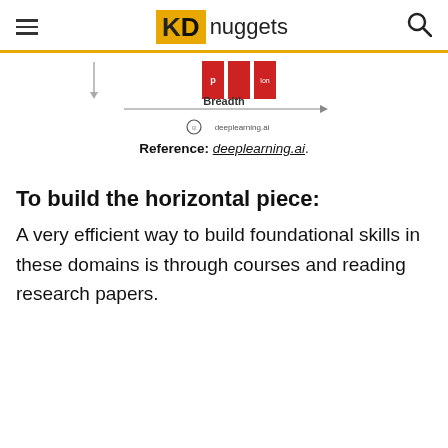KDnuggets
[Figure (infographic): Diagram showing breadth axis with red blocks and a downward arrow, labeled 'Breadth' with a horizontal arrow, and deeplearning.ai logo below]
Reference: deeplearning.ai.
To build the horizontal piece:
A very efficient way to build foundational skills in these domains is through courses and reading research papers.